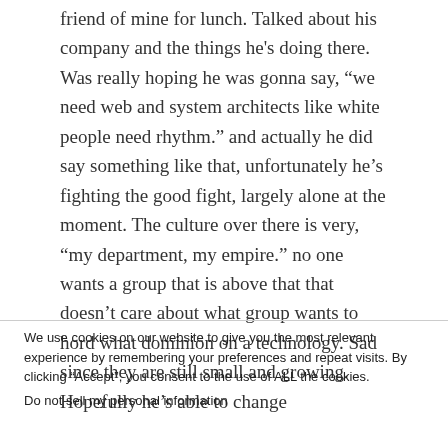friend of mine for lunch. Talked about his company and the things he's doing there. Was really hoping he was gonna say, “we need web and system architects like white people need rhythm.” and actually he did say something like that, unfortunately he’s fighting the good fight, largely alone at the moment. The culture over there is very, “my department, my empire.” no one wants a group that is above that that doesn’t care about what group wants to hord what dominion on a technology. Sad since they are still small and growing. Hopefully he’s able to change
We use cookies on our website to give you the most relevant experience by remembering your preferences and repeat visits. By clicking “Accept”, you consent to the use of ALL the cookies.
Do not sell my personal information